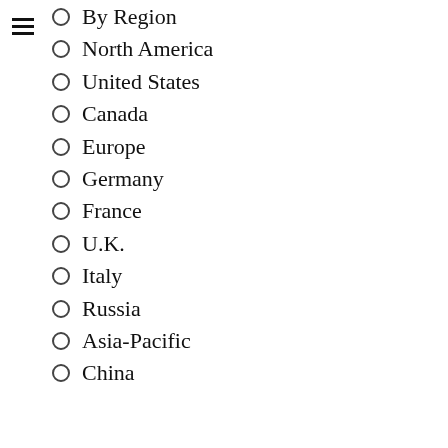By Region
North America
United States
Canada
Europe
Germany
France
U.K.
Italy
Russia
Asia-Pacific
China